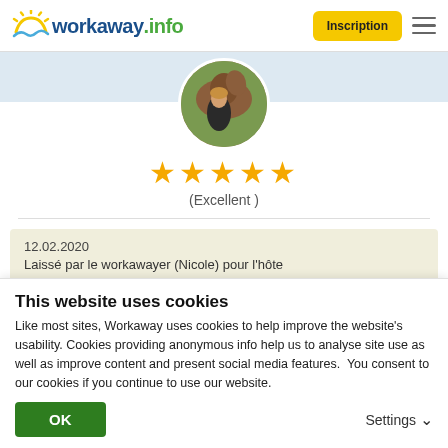[Figure (logo): workaway.info logo with sun graphic]
Inscription
[Figure (photo): Profile photo of a woman with a horse, circular crop]
★★★★★ (Excellent)
12.02.2020
Laissé par le workawayer (Nicole) pour l'hôte
This website uses cookies
Like most sites, Workaway uses cookies to help improve the website's usability. Cookies providing anonymous info help us to analyse site use as well as improve content and present social media features.  You consent to our cookies if you continue to use our website.
OK
Settings